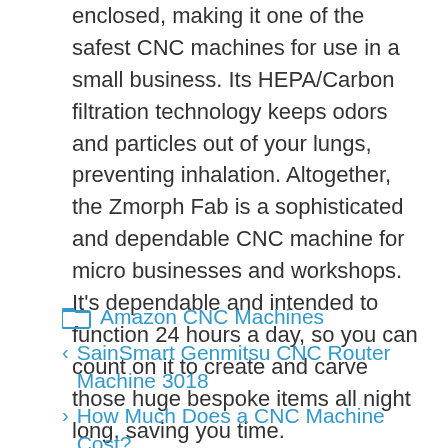enclosed, making it one of the safest CNC machines for use in a small business. Its HEPA/Carbon filtration technology keeps odors and particles out of your lungs, preventing inhalation. Altogether, the Zmorph Fab is a sophisticated and dependable CNC machine for micro businesses and workshops. It's dependable and intended to function 24 hours a day, so you can count on it to create and carve those huge bespoke items all night long, saving you time.
Amazon CNC Machines
SainSmart Genmitsu CNC Router Machine 3018
How Much Does a CNC Machine Cost?